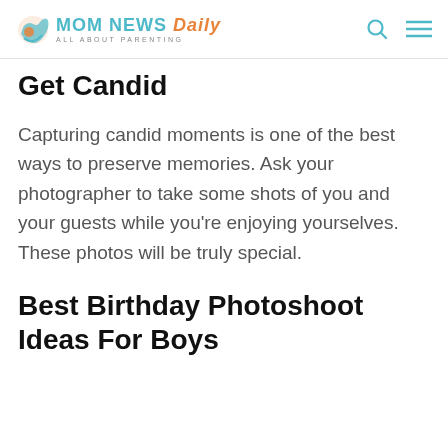MOM NEWS Daily — ALL ABOUT PARENTING
Get Candid
Capturing candid moments is one of the best ways to preserve memories. Ask your photographer to take some shots of you and your guests while you're enjoying yourselves. These photos will be truly special.
Best Birthday Photoshoot Ideas For Boys